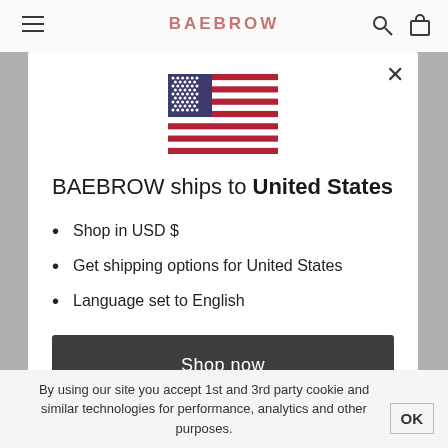[Figure (screenshot): BAEBROW e-commerce website header with hamburger menu, logo in coral/pink color, search and cart icons on grey background]
[Figure (illustration): US flag emoji/icon centered above modal heading]
BAEBROW ships to United States
Shop in USD $
Get shipping options for United States
Language set to English
Shop now
Change shipping country and language
By using our site you accept 1st and 3rd party cookie and similar technologies for performance, analytics and other purposes.